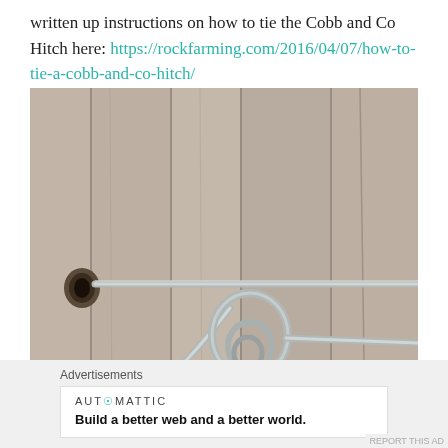written up instructions on how to tie the Cobb and Co Hitch here: https://rockfarming.com/2016/04/07/how-to-tie-a-cobb-and-co-hitch/
[Figure (photo): Close-up photo of a wire hitch knot tied through a hole in a weathered wooden fence post, showing galvanized wire looped and twisted to form a Cobb and Co hitch.]
Advertisements
AUTOMATTIC — Build a better web and a better world.